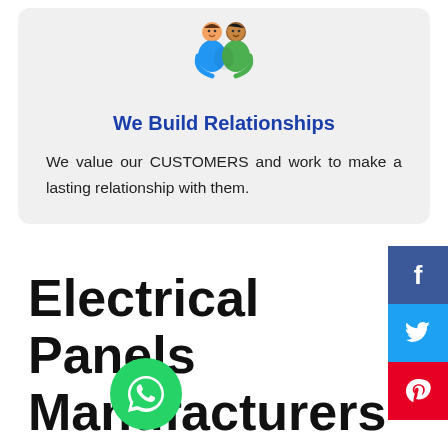[Figure (illustration): Two cartoon figures hugging, representing relationship/partnership icon]
We Build Relationships
We value our CUSTOMERS and work to make a lasting relationship with them.
Electrical Panels Manufacturers In Azamgarh
[Figure (logo): WhatsApp green circular button with phone icon]
[Figure (infographic): Social media share buttons: Facebook (f), Twitter (bird), Pinterest (p)]